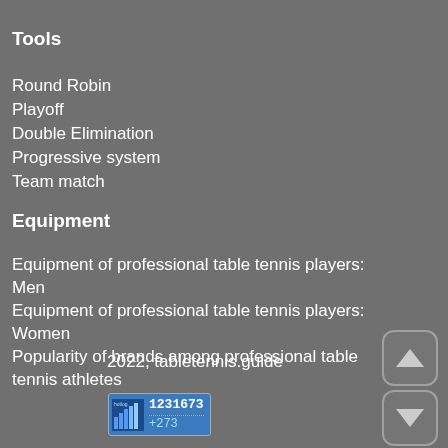Tools
Round Robin
Playoff
Double Elimination
Progressive system
Team match
Equipment
Equipment of professional table tennis players: Men
Equipment of professional table tennis players: Women
Popularity of brands among professional table tennis athletes
2022, tabletennis.guide
[Figure (logo): Hotlog web counter badge showing 1231673 total visits and +273 today]